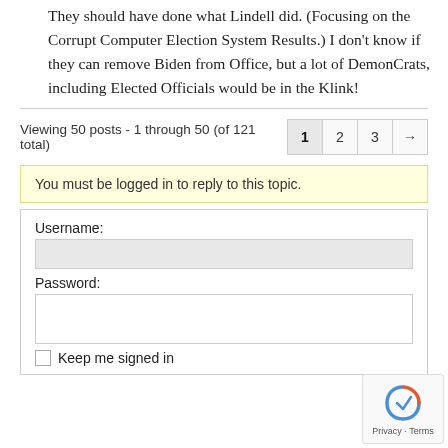They should have done what Lindell did. (Focusing on the Corrupt Computer Election System Results.) I don't know if they can remove Biden from Office, but a lot of DemonCrats, including Elected Officials would be in the Klink!
Viewing 50 posts - 1 through 50 (of 121 total)
You must be logged in to reply to this topic.
Username:
Password:
Keep me signed in